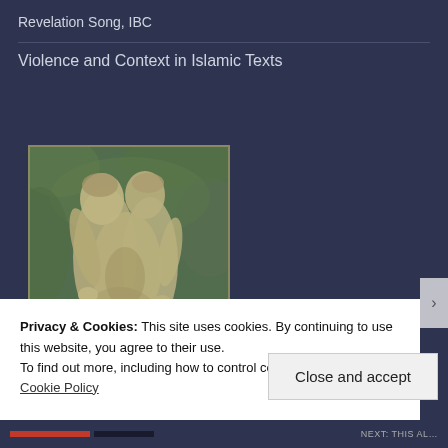Revelation Song, IBC
Violence and Context in Islamic Texts
[Figure (photo): A stone sculpture of two embracing figures, rendered in greenish-grey tones, set against a backdrop of foliage.]
Privacy & Cookies: This site uses cookies. By continuing to use this website, you agree to their use.
To find out more, including how to control cookies, see here: Cookie Policy
Close and accept